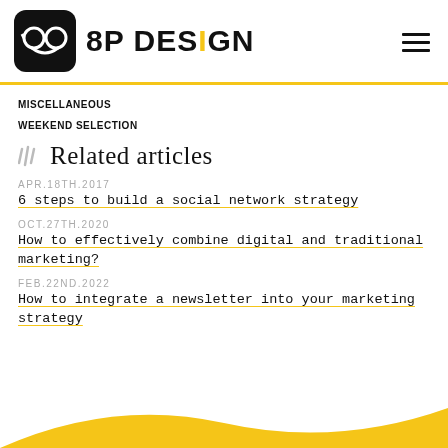[Figure (logo): 8P Design logo with icon and text, hamburger menu icon on right]
MISCELLANEOUS
WEEKEND SELECTION
Related articles
APR.18TH.2017
6 steps to build a social network strategy
OCT.27TH.2020
How to effectively combine digital and traditional marketing?
FEB.22ND.2022
How to integrate a newsletter into your marketing strategy